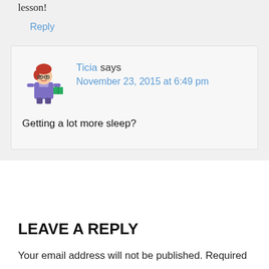lesson!
Reply
Ticia says
November 23, 2015 at 6:49 pm
Getting a lot more sleep?
LEAVE A REPLY
Your email address will not be published. Required